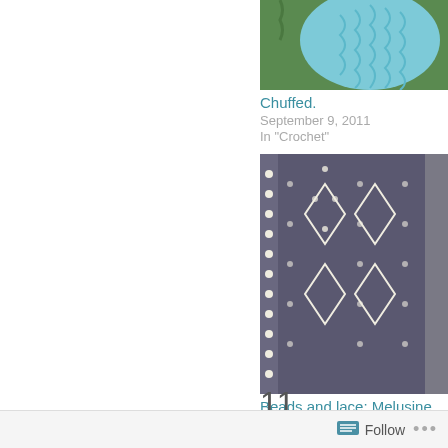[Figure (photo): Blue knitted or crocheted item on green grass background, cropped at top]
Chuffed.
September 9, 2011
In "Crochet"
[Figure (photo): Close-up of dark gray beaded lace knitting showing diamond pattern with white beads]
Beads and lace: Melusine
May 20, 2008
In "Knitting"
11 comments
Follow